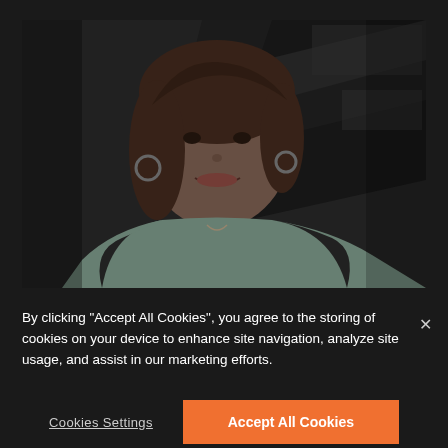[Figure (photo): A woman with brown hair, wearing a light green/mint top and hoop earrings, smiling at the camera. Background shows a dark architectural setting with geometric patterns.]
By clicking "Accept All Cookies", you agree to the storing of cookies on your device to enhance site navigation, analyze site usage, and assist in our marketing efforts.
×
Cookies Settings
Accept All Cookies